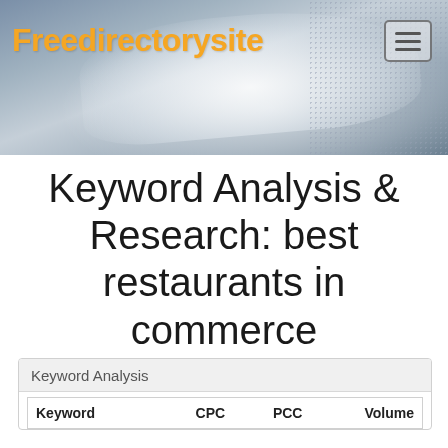Freedirectorysite
Keyword Analysis & Research: best restaurants in commerce ga
| Keyword | CPC | PCC | Volume |
| --- | --- | --- | --- |